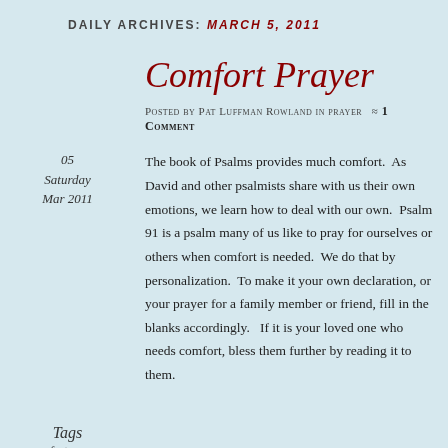DAILY ARCHIVES: MARCH 5, 2011
05
Saturday
Mar 2011
Comfort Prayer
Posted by Pat Luffman Rowland in prayer ≈ 1 Comment
Tags
comfort, prayer
The book of Psalms provides much comfort. As David and other psalmists share with us their own emotions, we learn how to deal with our own. Psalm 91 is a psalm many of us like to pray for ourselves or others when comfort is needed. We do that by personalization. To make it your own declaration, or your prayer for a family member or friend, fill in the blanks accordingly. If it is your loved one who needs comfort, bless them further by reading it to them.